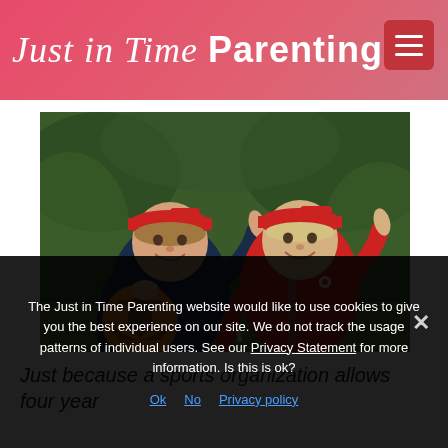Just in Time Parenting
[Figure (photo): Two young boys wearing red caps giving thumbs up, one holding an orange soccer ball, outdoors with green background]
Just because a sports organization allows four year
The Just in Time Parenting website would like to use cookies to give you the best experience on our site. We do not track the usage patterns of individual users. See our Privacy Statement for more information. Is this is ok?
Ok   No   Privacy policy